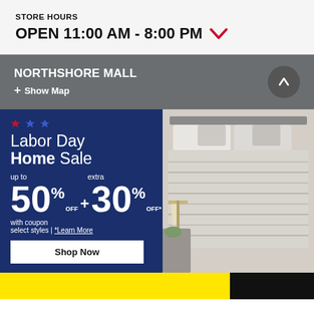STORE HOURS
OPEN 11:00 AM - 8:00 PM
NORTHSHORE MALL + Show Map
[Figure (infographic): Labor Day Home Sale promotional banner: up to 50% OFF + extra 30% OFF* with coupon select styles. Shop Now button. Right side shows a bedroom with striped bedding.]
[Figure (infographic): Yellow and black section at the bottom of the page]